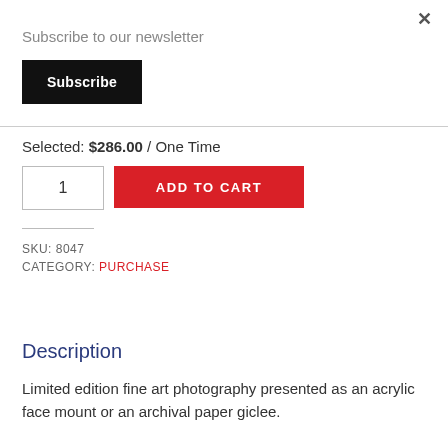Subscribe to our newsletter
Subscribe
Selected: $286.00 / One Time
1
ADD TO CART
SKU: 8047
CATEGORY: PURCHASE
Description
Limited edition fine art photography presented as an acrylic face mount or an archival paper giclee.